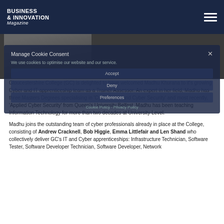BUSINESS & INNOVATION Magazine
[Figure (photo): Partially visible photograph of a person in dark clothing against a dark background]
Manage Cookie Consent
We use cookies to optimise our website and our service.
Accept
Deny
Preferences
Cookie Policy · Privacy Policy
Gloucestershire College (GC) is delighted to have welcomed Madhu Khurana to it's growing Cyber and IT apprenticeship team as a Trainer Assessor. An expert in her field, Madhu has three Masters Degrees specialising in 'Cyber Laws and Cyber Security' and most recently, 'Applied Cyber Security' from Queen's University Belfast. Madhu has been teaching Information Technology for more than two decades at University Level.
Madhu joins the outstanding team of cyber professionals already in place at the College, consisting of Andrew Cracknell, Bob Higgie, Emma Littlefair and Len Shand who collectively deliver GC's IT and Cyber apprenticeships: Infrastructure Technician, Software Tester, Software Developer Technician, Software Developer, Network